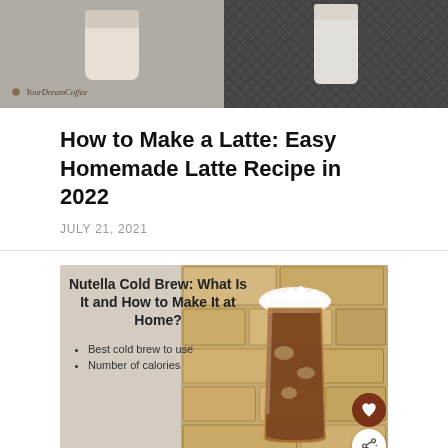[Figure (photo): Top image split in two: left side shows a latte in a light-colored cup on a dark woven mat background with 'YourDreamCoffee' watermark; right side shows a white cup on dark woven surface.]
How to Make a Latte: Easy Homemade Latte Recipe in 2022
JULY 21, 2021
[Figure (photo): Nutella Cold Brew drink in a tall glass with whipped cream on top, set against a stone wall background. Overlay text reads: 'Nutella Cold Brew: What Is It and How to Make It at Home?' with bullet points: 'Best cold brew to use' and 'Number of calories'. Heart and share buttons visible on right edge.]